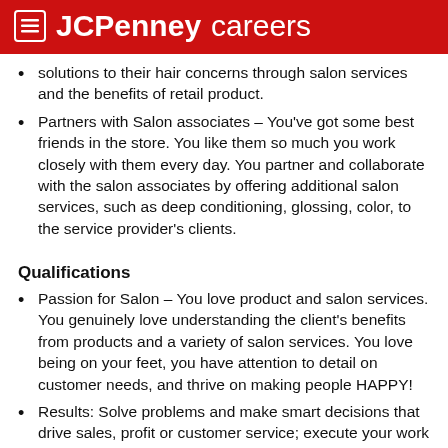JCPenney careers
solutions to their hair concerns through salon services and the benefits of retail product.
Partners with Salon associates – You've got some best friends in the store. You like them so much you work closely with them every day. You partner and collaborate with the salon associates by offering additional salon services, such as deep conditioning, glossing, color, to the service provider's clients.
Qualifications
Passion for Salon – You love product and salon services. You genuinely love understanding the client's benefits from products and a variety of salon services. You love being on your feet, you have attention to detail on customer needs, and thrive on making people HAPPY!
Results: Solve problems and make smart decisions that drive sales, profit or customer service; execute your work efficiently and effectively; inspire strong performance in yourself and others